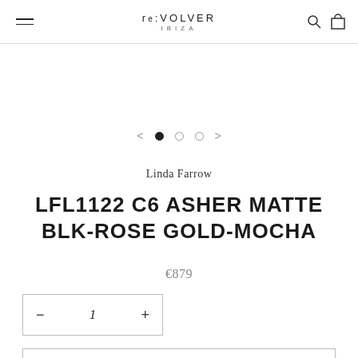re:VOLVER IBIZA
[Figure (screenshot): Image carousel navigation dots with left and right arrows, first dot active]
Linda Farrow
LFL1122 C6 ASHER MATTE BLK-ROSE GOLD-MOCHA
€879
— 1 +
SOLD OUT